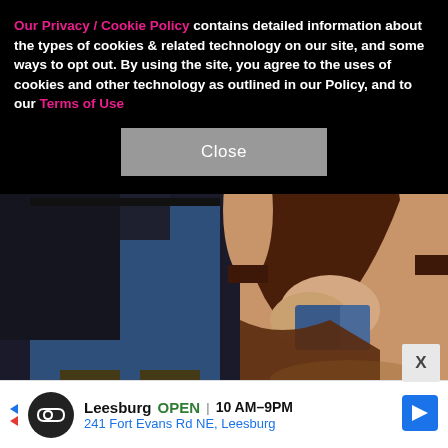Our Privacy / Cookie Policy contains detailed information about the types of cookies & related technology on our site, and some ways to opt out. By using the site, you agree to the uses of cookies and other technology as outlined in our Policy, and to our Terms of Use
[Figure (photo): Close-up photo of two people standing together. Left person wearing dark jacket and blue trousers. Right person wearing a tan and brown color-block dress holding a small blue clutch.]
Leesburg   OPEN   10 AM–9PM   241 Fort Evans Rd NE, Leesburg